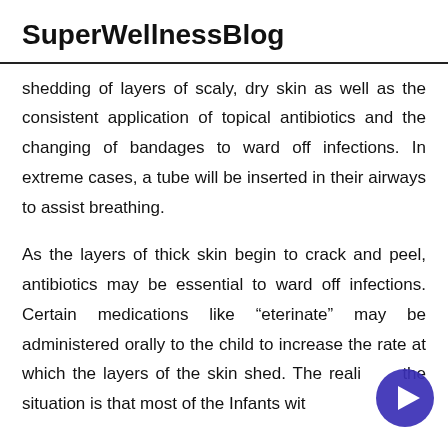SuperWellnessBlog
shedding of layers of scaly, dry skin as well as the consistent application of topical antibiotics and the changing of bandages to ward off infections. In extreme cases, a tube will be inserted in their airways to assist breathing.
As the layers of thick skin begin to crack and peel, antibiotics may be essential to ward off infections. Certain medications like “eterinate” may be administered orally to the child to increase the rate at which the layers of the skin shed. The reality of the situation is that most of the Infants with the